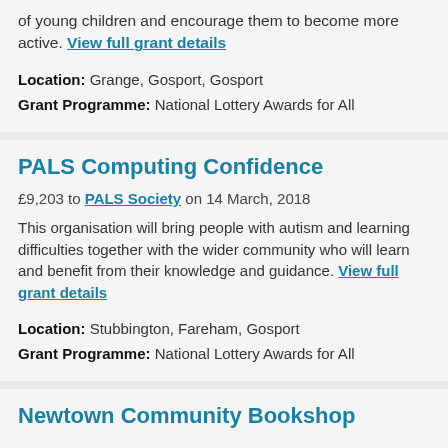of young children and encourage them to become more active. View full grant details
Location: Grange, Gosport, Gosport
Grant Programme: National Lottery Awards for All
PALS Computing Confidence
£9,203 to PALS Society on 14 March, 2018
This organisation will bring people with autism and learning difficulties together with the wider community who will learn and benefit from their knowledge and guidance. View full grant details
Location: Stubbington, Fareham, Gosport
Grant Programme: National Lottery Awards for All
Newtown Community Bookshop